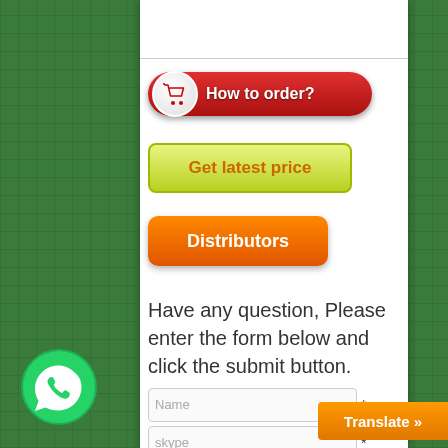[Figure (illustration): Red rounded button with white shopping cart icon circle and text 'How to order?']
[Figure (illustration): Yellow-green rounded rectangle button with orange text 'Get latest price']
[Figure (illustration): Orange rounded rectangle button with white text 'Distributors']
Have any question, Please enter the form below and click the submit button.
Name *
skype *
[Figure (logo): WhatsApp green circle logo with white phone handset icon]
[Figure (illustration): Orange rounded button with white text 'Translate »']